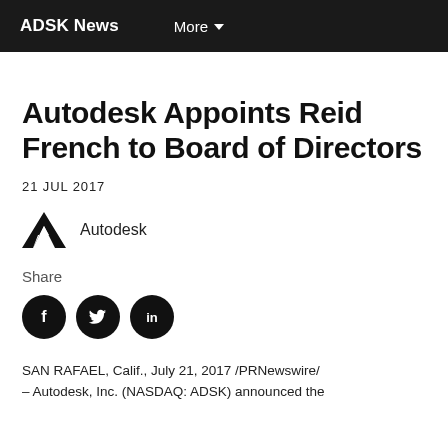ADSK News   More
Autodesk Appoints Reid French to Board of Directors
21 JUL 2017
[Figure (logo): Autodesk logo with brand name]
Share
[Figure (infographic): Social share icons: Facebook, Twitter, LinkedIn]
SAN RAFAEL, Calif., July 21, 2017 /PRNewswire/ — Autodesk, Inc. (NASDAQ: ADSK) announced the